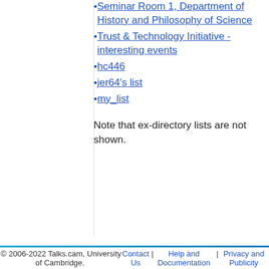Seminar Room 1, Department of History and Philosophy of Science
Trust & Technology Initiative - interesting events
hc446
jer64's list
my_list
Note that ex-directory lists are not shown.
© 2006-2022 Talks.cam, University of Cambridge. Contact Us | Help and Documentation | Privacy and Publicity